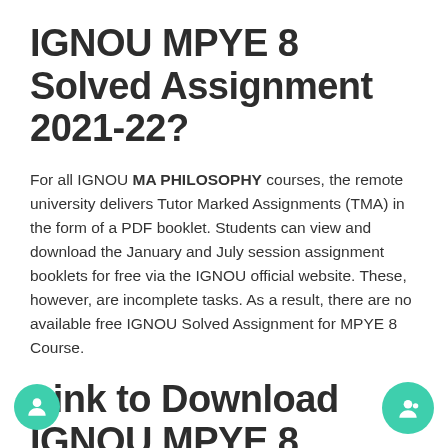IGNOU MPYE 8 Solved Assignment 2021-22?
For all IGNOU MA PHILOSOPHY courses, the remote university delivers Tutor Marked Assignments (TMA) in the form of a PDF booklet. Students can view and download the January and July session assignment booklets for free via the IGNOU official website. These, however, are incomplete tasks. As a result, there are no available free IGNOU Solved Assignment for MPYE 8 Course.
Link to Download IGNOU MPYE 8 Solved Assignment 2021-22